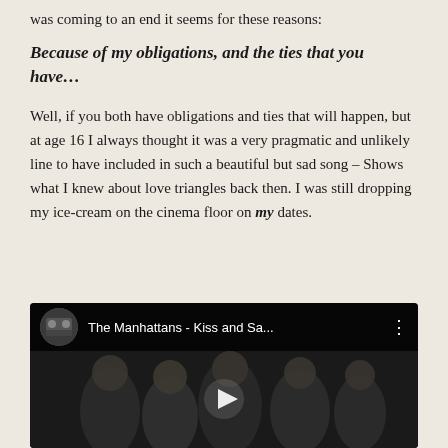was coming to an end it seems for these reasons:
Because of my obligations, and the ties that you have…
Well, if you both have obligations and ties that will happen, but at age 16 I always thought it was a very pragmatic and unlikely line to have included in such a beautiful but sad song – Shows what I knew about love triangles back then. I was still dropping my ice-cream on the cinema floor on my dates.
[Figure (screenshot): YouTube video embed showing 'The Manhattans - Kiss and Sa...' with a thumbnail of performers and a play button]